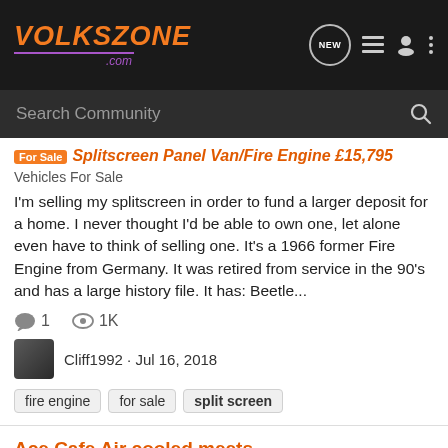VOLKSZONE .com — navigation header with search bar
For Sale  Splitscreen Panel Van/Fire Engine £15,795
Vehicles For Sale
I'm selling my splitscreen in order to fund a larger deposit for a home. I never thought I'd be able to own one, let alone even have to think of selling one. It's a 1966 former Fire Engine from Germany. It was retired from service in the 90's and has a large history file. It has: Beetle...
1   1K
Cliff1992 · Jul 16, 2018
fire engine
for sale
split screen
Ace Cafe Air cooled meets
Show Scene